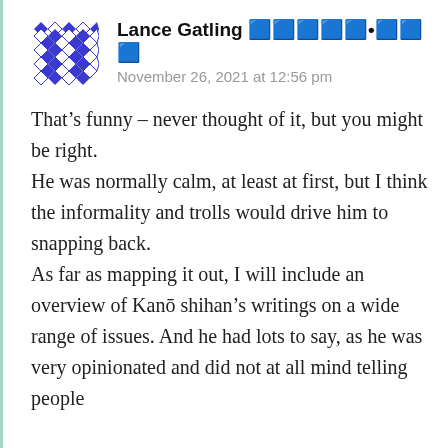[Figure (illustration): Diamond/checkerboard pattern avatar icon in blue and white]
Lance Gatling 🟦🟦🟦🟦🟦•🟦🟦🟦
November 26, 2021 at 12:56 pm
That's funny – never thought of it, but you might be right.
He was normally calm, at least at first, but I think the informality and trolls would drive him to snapping back.
As far as mapping it out, I will include an overview of Kanō shihan's writings on a wide range of issues. And he had lots to say, as he was very opinionated and did not at all mind telling people